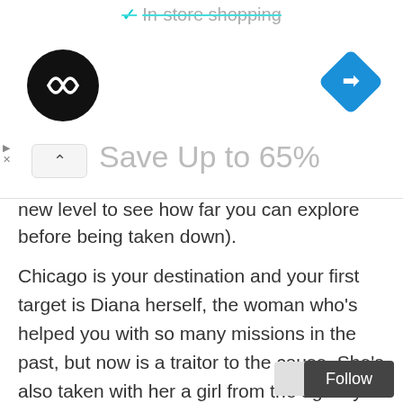[Figure (screenshot): Ad banner with checkmark and 'In-store shopping' text, a black circular logo with arrow symbol, a blue diamond navigation icon, close button with up arrow, and 'Save Up to 65%' text in gray]
new level to see how far you can explore before being taken down).
Chicago is your destination and your first target is Diana herself, the woman who's helped you with so many missions in the past, but now is a traitor to the cause. She's also taken with her a girl from the agency called Victoria, who you are to bring back after eliminating Diana. There are 19 more cases to undertake once you've completed this initial one which, as you'll see from the footage, also acts as a training level.
[Figure (screenshot): Follow button and scroll indicator at bottom right]